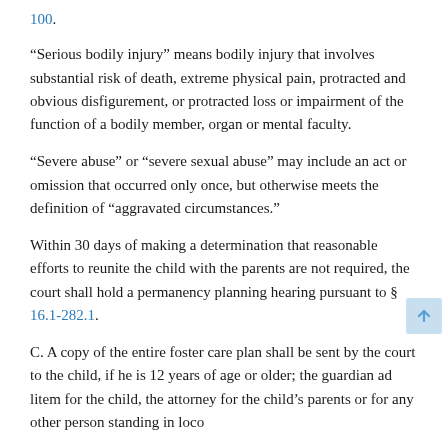100.
"Serious bodily injury" means bodily injury that involves substantial risk of death, extreme physical pain, protracted and obvious disfigurement, or protracted loss or impairment of the function of a bodily member, organ or mental faculty.
"Severe abuse" or "severe sexual abuse" may include an act or omission that occurred only once, but otherwise meets the definition of "aggravated circumstances."
Within 30 days of making a determination that reasonable efforts to reunite the child with the parents are not required, the court shall hold a permanency planning hearing pursuant to § 16.1-282.1.
C. A copy of the entire foster care plan shall be sent by the court to the child, if he is 12 years of age or older; the guardian ad litem for the child, the attorney for the child's parents or for any other person standing in loco